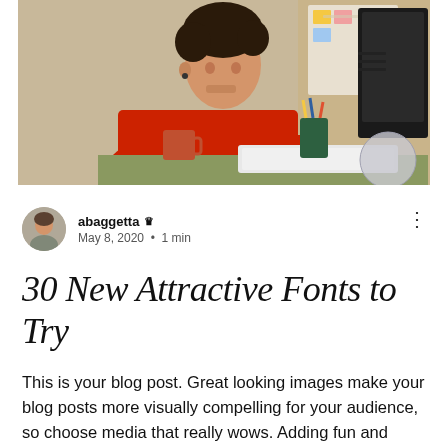[Figure (photo): A young man with curly hair and an earring wearing a red t-shirt, sitting at a desk working on a computer with art supplies and a whiteboard in the background. A hamburger menu icon is overlaid on the top right of the photo.]
abaggetta 👑
May 8, 2020  •  1 min
30 New Attractive Fonts to Try
This is your blog post. Great looking images make your blog posts more visually compelling for your audience, so choose media that really wows. Adding fun and compelling videos is another great way to engage your